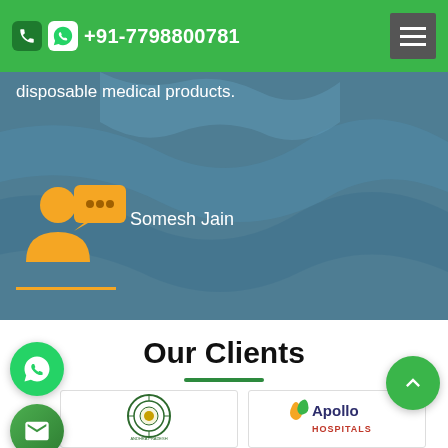+91-7798800781
disposable medical products.
Somesh Jain
Our Clients
[Figure (logo): Government of Andhra Pradesh seal/emblem logo]
[Figure (logo): Apollo Hospitals logo with leaf icon and text 'Apollo HOSPITALS']